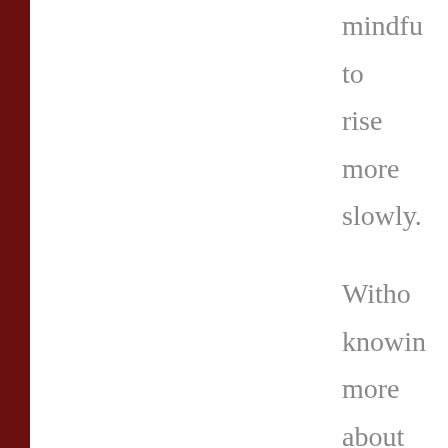mindful to rise more slowly. Without knowing more about your medical history and assuming that you are in